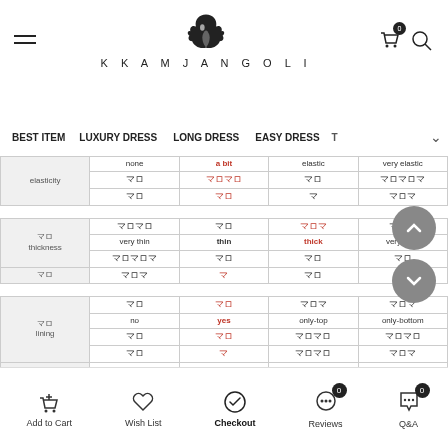KKAMJANGOLI - navigation header with logo, hamburger menu, cart and search icons
|  | col1 | col2 | col3 | col4 |
| --- | --- | --- | --- | --- |
| elasticity | none | a bit | elastic | very elastic |
| (Korean chars) | (Korean) | (Korean) | (Korean) | (Korean) |
| (Korean chars) | (Korean) | (Korean) | (Korean) | (Korean) |
| (Korean) thickness | very thin | thin | thick | very thick |
| (Korean) | (Korean) | (Korean) | (Korean) | (Korean) |
| (Korean) | (Korean) | (Korean) | (Korean) | (Korean) |
| (Korean) lining | no | yes | only-top | only-bottom |
| (Korean) | (Korean) | (Korean) | (Korean) | (Korean) |
| (Korean) | (Korean) | (Korean) | (Korean) | (Korean) |
| (Korean) | (Korean) | (Korean) | (Korean) | (Korean) |
Add to Cart | Wish List | Checkout | Reviews | Q&A